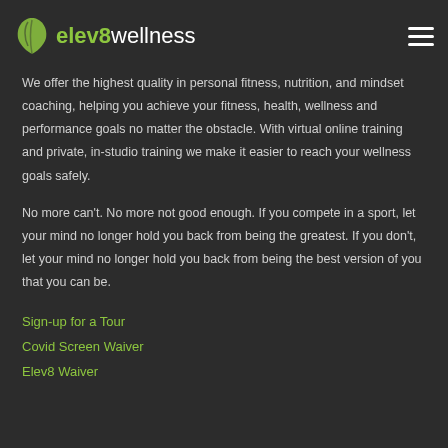[Figure (logo): elev8wellness logo with green leaf icon and text]
We offer the highest quality in personal fitness, nutrition, and mindset coaching, helping you achieve your fitness, health, wellness and performance goals no matter the obstacle. With virtual online training and private, in-studio training we make it easier to reach your wellness goals safely.
No more can't. No more not good enough. If you compete in a sport, let your mind no longer hold you back from being the greatest. If you don't, let your mind no longer hold you back from being the best version of you that you can be.
Sign-up for a Tour
Covid Screen Waiver
Elev8 Waiver